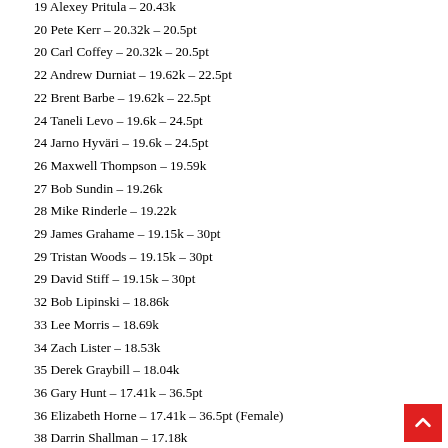19 Alexey Pritula – 20.43k
20 Pete Kerr – 20.32k – 20.5pt
20 Carl Coffey – 20.32k – 20.5pt
22 Andrew Durniat – 19.62k – 22.5pt
22 Brent Barbe – 19.62k – 22.5pt
24 Taneli Levo – 19.6k – 24.5pt
24 Jarno Hyväri – 19.6k – 24.5pt
26 Maxwell Thompson – 19.59k
27 Bob Sundin – 19.26k
28 Mike Rinderle – 19.22k
29 James Grahame – 19.15k – 30pt
29 Tristan Woods – 19.15k – 30pt
29 David Stiff – 19.15k – 30pt
32 Bob Lipinski – 18.86k
33 Lee Morris – 18.69k
34 Zach Lister – 18.53k
35 Derek Graybill – 18.04k
36 Gary Hunt – 17.41k – 36.5pt
36 Elizabeth Horne – 17.41k – 36.5pt (Female)
38 Darrin Shallman – 17.18k
39 David Dellanave – 16.97k
40 Sergey Shebashov – 16.68k – 41pt
40 Ruben Piliposyan – 16.68k – 41pt
40 Ivan Silantyev – 16.68k – 41pt
43 Brett Lindskog – 16.23k – 43.5pt